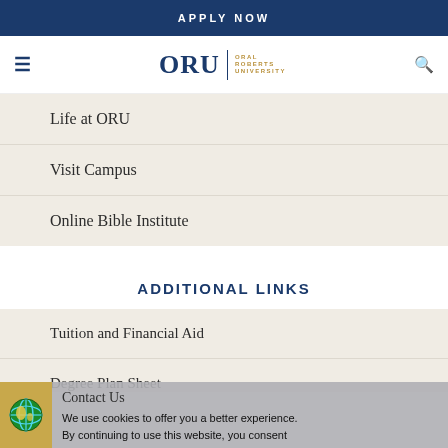APPLY NOW
[Figure (logo): ORU - Oral Roberts University logo with hamburger menu and search icon]
Life at ORU
Visit Campus
Online Bible Institute
ADDITIONAL LINKS
Tuition and Financial Aid
Degree Plan Sheet
Contact Us
We use cookies to offer you a better experience. By continuing to use this website, you consent